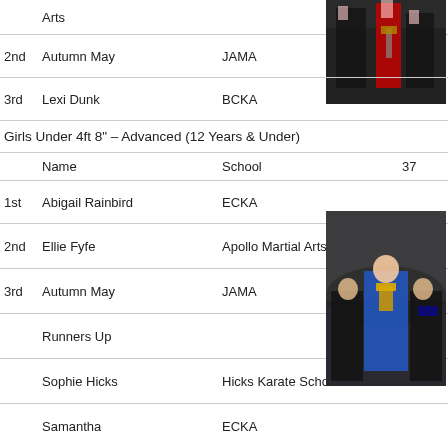Arts
[Figure (photo): Photo of martial arts competitors holding trophies, one in red uniform]
|  | Name | School |  |
| --- | --- | --- | --- |
| 2nd | Autumn May | JAMA |  |
| 3rd | Lexi Dunk | BCKA |  |
Girls Under 4ft 8" – Advanced (12 Years & Under)
|  | Name | School | 37 |
| --- | --- | --- | --- |
| 1st | Abigail Rainbird | ECKA |  |
| 2nd | Ellie Fyfe | Apollo Martial Arts |  |
| 3rd | Autumn May | JAMA |  |
|  | Runners Up |  |  |
|  | Sophie Hicks | Hicks Karate School |  |
|  | Samantha | ECKA |  |
[Figure (photo): Photo of martial arts competitors on podium, center girl in blue holding trophy]